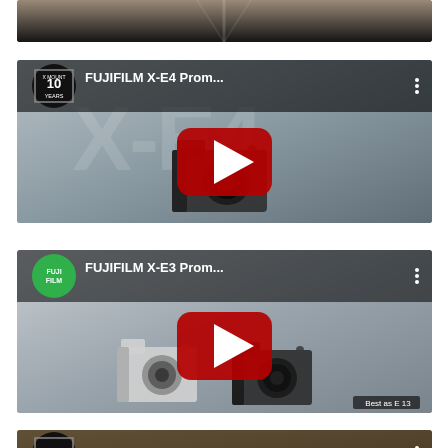[Figure (screenshot): Top partial YouTube video thumbnail showing aerial road view with dark lower bar]
[Figure (screenshot): YouTube video embed for FUJIFILM X-E4 Promo... with X Mount 10 Years channel icon, red play button, camera on table background]
[Figure (screenshot): YouTube video embed for FUJIFILM X-E3 Promo... with green Fujifilm channel icon, red play button, two cameras displayed, duration stamp bottom right]
[Figure (screenshot): Bottom partial YouTube video embed for FUJIFILM X-A7 Pro... with X Mount 10 Years channel icon, brown/orange background]